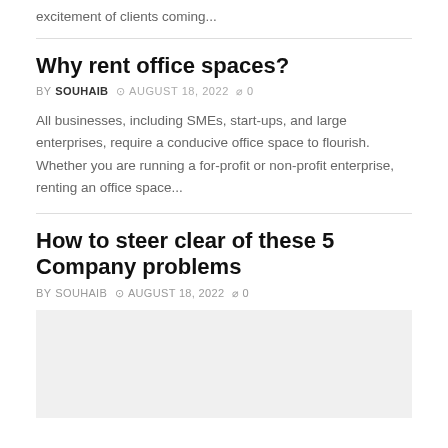excitement of clients coming...
Why rent office spaces?
BY SOUHAIB  © AUGUST 18, 2022  ○ 0
All businesses, including SMEs, start-ups, and large enterprises, require a conducive office space to flourish. Whether you are running a for-profit or non-profit enterprise, renting an office space...
How to steer clear of these 5 Company problems
BY SOUHAIB  © AUGUST 18, 2022  ○ 0
[Figure (photo): Light gray image placeholder for article thumbnail]